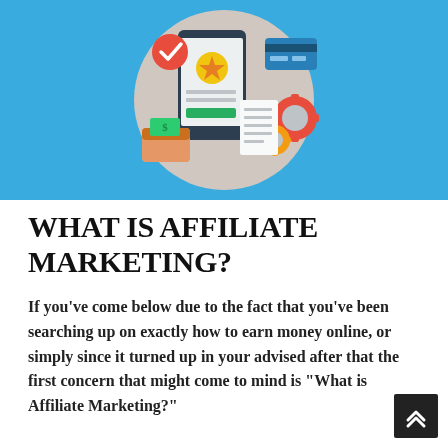[Figure (illustration): Affiliate marketing illustration: a smartphone with a star badge and SUBSCRIBE button on a light blue circular background, flanked by a credit card, red/yellow gear icons, a green dollar bill wallet, a checklist/receipt, and a red checkmark badge, all on a blue background.]
WHAT IS AFFILIATE MARKETING?
If you've come below due to the fact that you've been searching up on exactly how to earn money online, or simply since it turned up in your advised after that the first concern that might come to mind is "What is Affiliate Marketing?"